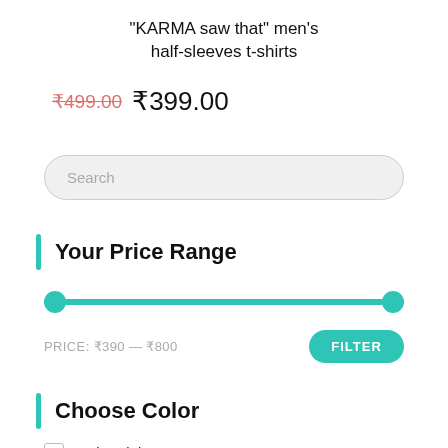"KARMA saw that" men's half-sleeves t-shirts
₹499.00 ₹399.00
Search
Your Price Range
PRICE: ₹390 — ₹800
FILTER
Choose Color
Baby Pink 1